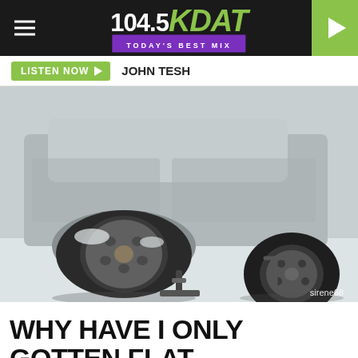104.5 KDAT - TODAY'S BEST MIX
LISTEN NOW  JOHN TESH
[Figure (photo): A flat tire on a vehicle being changed in snowy/winter conditions. The car is jacked up with a spare tire visible on the ground to the right. Photo credit: sirene68]
WHY HAVE I ONLY GOTTEN FLAT